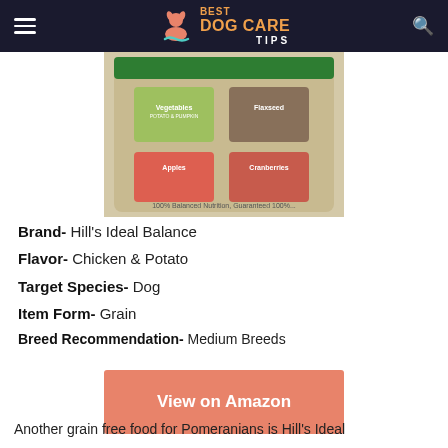Best Dog Care Tips
[Figure (photo): Product photo of Hill's Ideal Balance dog food bag showing vegetables, chicken, apples, cranberries and text '100% Balanced Nutrition Guaranteed']
Brand- Hill's Ideal Balance
Flavor- Chicken & Potato
Target Species- Dog
Item Form- Grain
Breed Recommendation- Medium Breeds
View on Amazon
Another grain free food for Pomeranians is Hill's Ideal